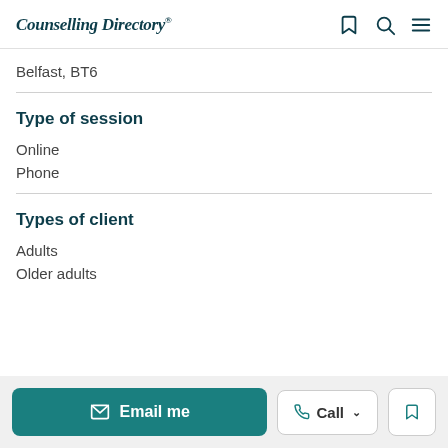Counselling Directory
Belfast, BT6
Type of session
Online
Phone
Types of client
Adults
Older adults
Email me | Call | Bookmark